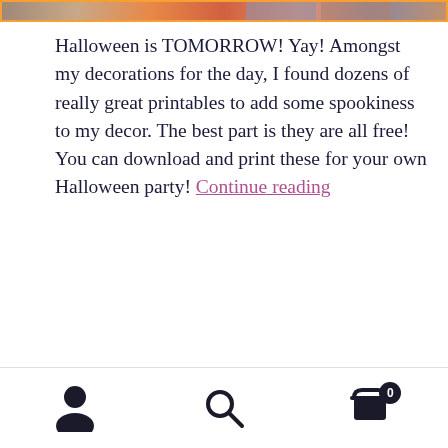[Figure (photo): Top image bar showing Halloween-themed decorative images including circular shapes and thumbnails]
Halloween is TOMORROW! Yay! Amongst my decorations for the day, I found dozens of really great printables to add some spookiness to my decor. The best part is they are all free! You can download and print these for your own Halloween party! Continue reading
Category: Crafts
Tags: downloads, free, freebie friday, halloween, labels, mischief night, party, printables
by Katie — 2 Comments
user icon | search icon | cart icon with 0